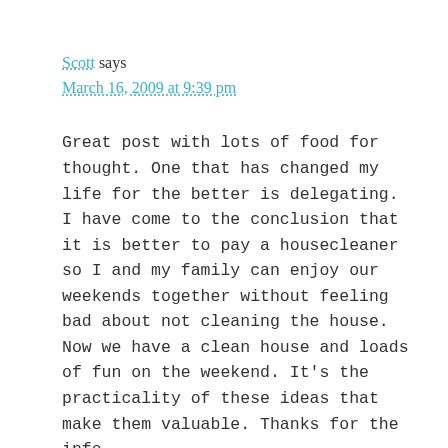Scott says
March 16, 2009 at 9:39 pm
Great post with lots of food for thought. One that has changed my life for the better is delegating. I have come to the conclusion that it is better to pay a housecleaner so I and my family can enjoy our weekends together without feeling bad about not cleaning the house. Now we have a clean house and loads of fun on the weekend. It's the practicality of these ideas that make them valuable. Thanks for the info.
Reply